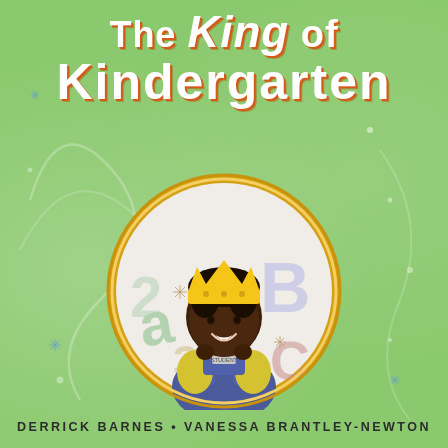The King of Kindergarten
[Figure (illustration): A circular illustration of a young Black boy wearing a yellow crown and blue overalls with a yellow shirt, smiling and holding backpack straps, set against a background with colorful letters (a, B, C) and numbers (2, 3), surrounded by a gold ring border and a rainbow arc at the top of the circle.]
Derrick Barnes • Vanessa Brantley-Newton